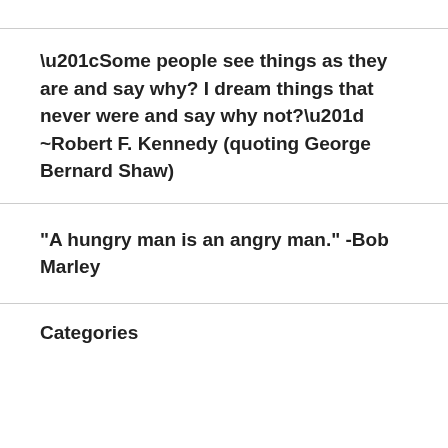“Some people see things as they are and say why? I dream things that never were and say why not?” –Robert F. Kennedy (quoting George Bernard Shaw)
“A hungry man is an angry man.” -Bob Marley
Categories